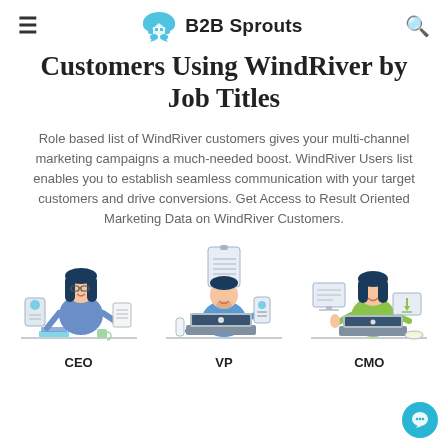B2B Sprouts
Customers Using WindRiver by Job Titles
Role based list of WindRiver customers gives your multi-channel marketing campaigns a much-needed boost. WindRiver Users list enables you to establish seamless communication with your target customers and drive conversions. Get Access to Result Oriented Marketing Data on WindRiver Customers.
[Figure (illustration): Three illustrated job role figures: CEO (woman with glasses at desk with phone and documents), VP (man at laptop with mobile device), CMO (woman at laptop with thumbs up and download screen)]
CEO        VP        CMO